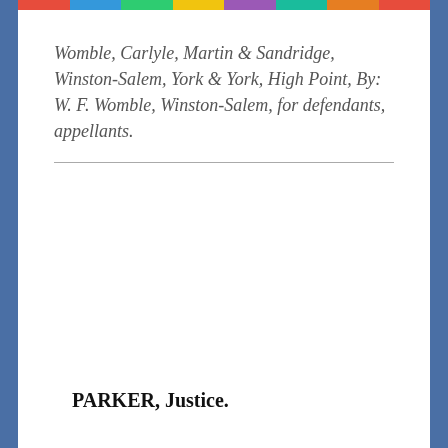Womble, Carlyle, Martin & Sandridge, Winston-Salem, York & York, High Point, By: W. F. Womble, Winston-Salem, for defendants, appellants.
PARKER, Justice.